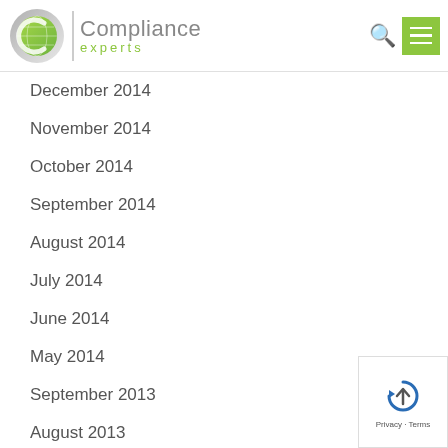Compliance Experts
December 2014
November 2014
October 2014
September 2014
August 2014
July 2014
June 2014
May 2014
September 2013
August 2013
March 2013